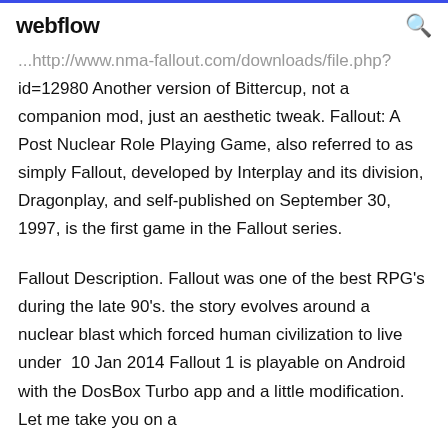webflow
...http://www.nma-fallout.com/downloads/file.php?id=12980 Another version of Bittercup, not a companion mod, just an aesthetic tweak. Fallout: A Post Nuclear Role Playing Game, also referred to as simply Fallout, developed by Interplay and its division, Dragonplay, and self-published on September 30, 1997, is the first game in the Fallout series.
Fallout Description. Fallout was one of the best RPG's during the late 90's. the story evolves around a nuclear blast which forced human civilization to live under  10 Jan 2014 Fallout 1 is playable on Android with the DosBox Turbo app and a little modification. Let me take you on a